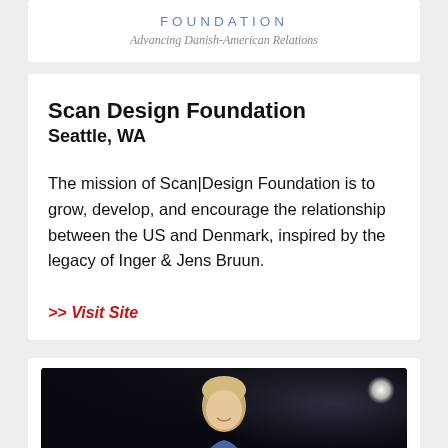[Figure (logo): FOUNDATION logo with tagline 'Advancing Danish-American Relations']
Scan Design Foundation
Seattle, WA
The mission of Scan|Design Foundation is to grow, develop, and encourage the relationship between the US and Denmark, inspired by the legacy of Inger & Jens Bruun.
>> Visit Site
[Figure (photo): Person smiling on stage with dark background and a light orb visible]